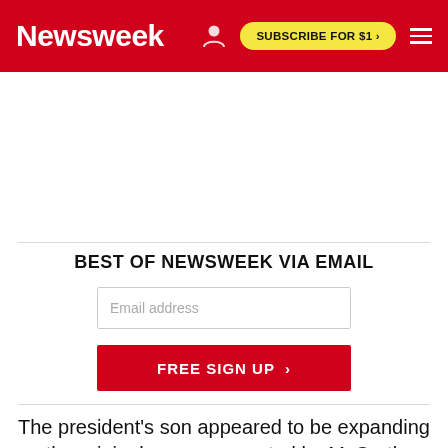Newsweek | SUBSCRIBE FOR $1 >
BEST OF NEWSWEEK VIA EMAIL
Email address
FREE SIGN UP >
The president's son appeared to be expanding on the original message posted by McCarthy